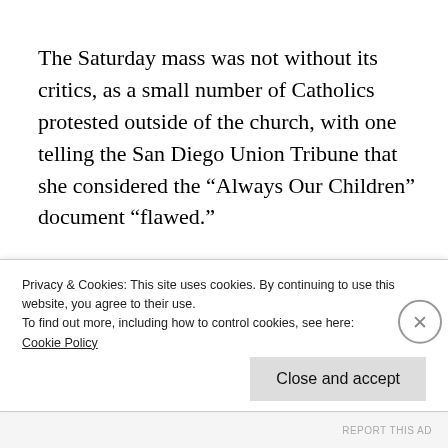The Saturday mass was not without its critics, as a small number of Catholics protested outside of the church, with one telling the San Diego Union Tribune that she considered the “Always Our Children” document “flawed.”
“The Church is bending with the cultural zeitgeist. The Church is
Privacy & Cookies: This site uses cookies. By continuing to use this website, you agree to their use.
To find out more, including how to control cookies, see here:
Cookie Policy
Close and accept